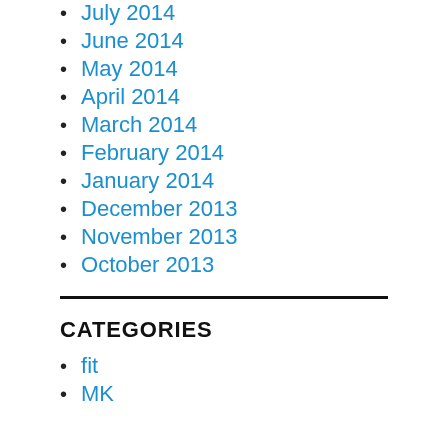July 2014
June 2014
May 2014
April 2014
March 2014
February 2014
January 2014
December 2013
November 2013
October 2013
CATEGORIES
fit
MK